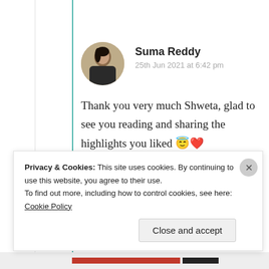[Figure (photo): Round avatar photo of Suma Reddy]
Suma Reddy
25th Jun 2021 at 6:42 pm
Thank you very much Shweta, glad to see you reading and sharing the highlights you liked 😇❤️
★ Liked by 2 people
Log in to Reply
Privacy & Cookies: This site uses cookies. By continuing to use this website, you agree to their use.
To find out more, including how to control cookies, see here: Cookie Policy
Close and accept